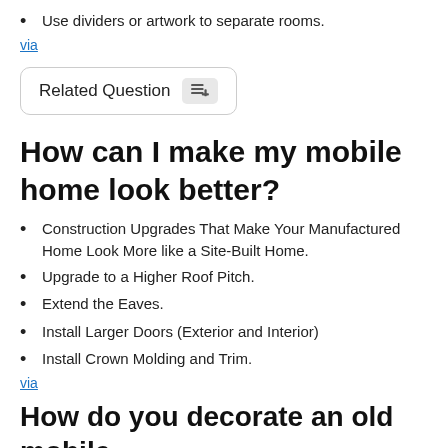Use dividers or artwork to separate rooms.
via
Related Question
How can I make my mobile home look better?
Construction Upgrades That Make Your Manufactured Home Look More like a Site-Built Home.
Upgrade to a Higher Roof Pitch.
Extend the Eaves.
Install Larger Doors (Exterior and Interior)
Install Crown Molding and Trim.
via
How do you decorate an old mobile